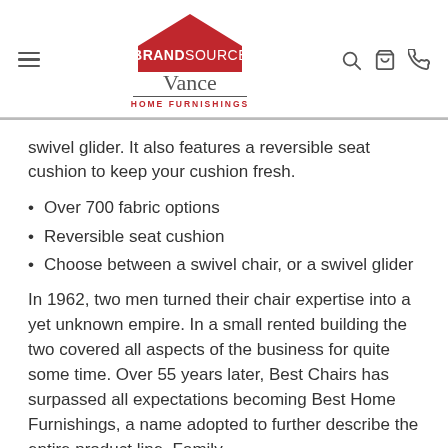BrandSource Vance Home Furnishings — navigation header
swivel glider. It also features a reversible seat cushion to keep your cushion fresh.
Over 700 fabric options
Reversible seat cushion
Choose between a swivel chair, or a swivel glider
In 1962, two men turned their chair expertise into a yet unknown empire. In a small rented building the two covered all aspects of the business for quite some time. Over 55 years later, Best Chairs has surpassed all expectations becoming Best Home Furnishings, a name adopted to further describe the entire product line. Family